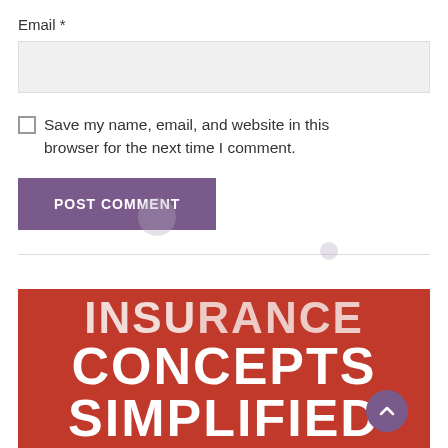Email *
Save my name, email, and website in this browser for the next time I comment.
POST COMMENT
[Figure (illustration): Red banner image with large bold white text reading 'CONCEPTS SIMPLIFIED' (partially cropped at top), with a purple circular scroll-to-top button in the bottom right corner.]